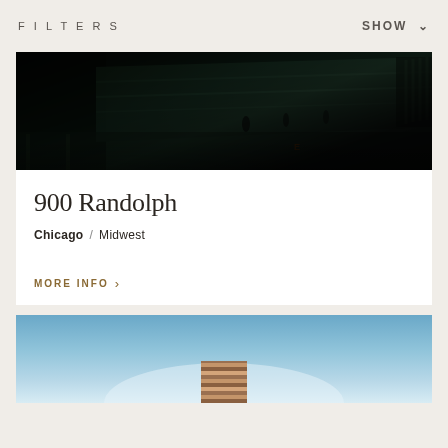FILTERS / SHOW
[Figure (photo): Aerial/elevated view of a train station or elevated rail platform with metal roof structure, dark and moody lighting]
900 Randolph
Chicago / Midwest
MORE INFO >
[Figure (photo): Modern mixed-use building with a brick or patterned facade against a clear blue sky, partial view]